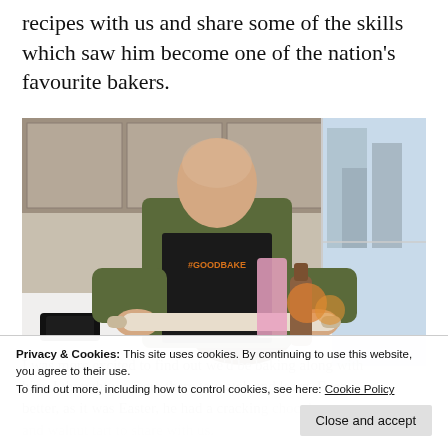recipes with us and share some of the skills which saw him become one of the nation's favourite bakers.
[Figure (photo): A man wearing a black apron with '#GOODBAKE' text rolling out pastry dough on a white kitchen counter. A dark tart tin and a round baked tart base are visible on the counter. Kitchen appliances and a city view through windows are visible in the background.]
I was more excited to find out we'd be baking along with him, I thought we were there to watch and learn. Even better, as it was Easter, he had a cracking chocolate orange and walnut tart to share with us.